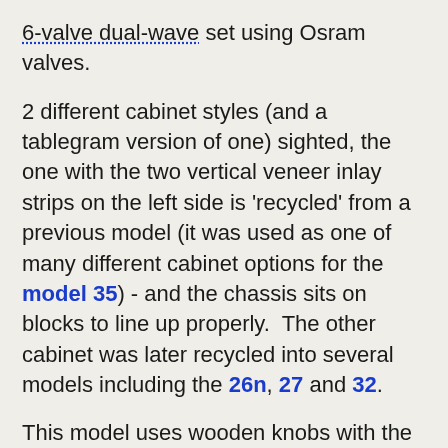6-valve dual-wave set using Osram valves.
2 different cabinet styles (and a tablegram version of one) sighted, the one with the two vertical veneer inlay strips on the left side is 'recycled' from a previous model (it was used as one of many different cabinet options for the model 35) - and the chassis sits on blocks to line up properly.  The other cabinet was later recycled into several models including the 26n, 27 and 32.
This model uses wooden knobs with the Columbus ship pressed into them that RCNZ must have made specifically for the model 62, as they do not appear on any other known models.  The two inner knobs have scalloped sides...